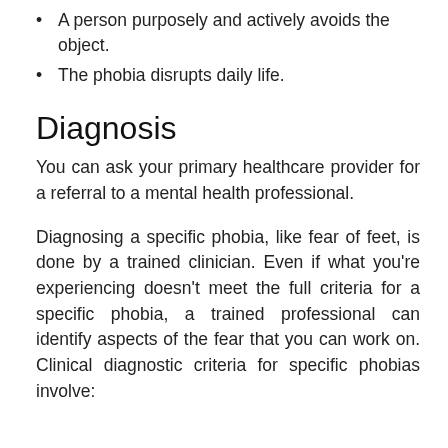A person purposely and actively avoids the object.
The phobia disrupts daily life.
Diagnosis
You can ask your primary healthcare provider for a referral to a mental health professional.
Diagnosing a specific phobia, like fear of feet, is done by a trained clinician. Even if what you're experiencing doesn't meet the full criteria for a specific phobia, a trained professional can identify aspects of the fear that you can work on. Clinical diagnostic criteria for specific phobias involve: